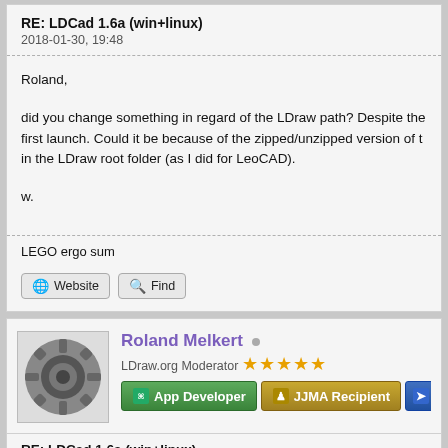RE: LDCad 1.6a (win+linux)
2018-01-30, 19:48
Roland,
did you change something in regard of the LDraw path? Despite the first launch. Could it be because of the zipped/unzipped version of t in the LDraw root folder (as I did for LeoCAD).
w.
LEGO ergo sum
Website   Find
Roland Melkert
LDraw.org Moderator ★★★★★
App Developer   JJMA Recipient
RE: LDCad 1.6a (win+linux)